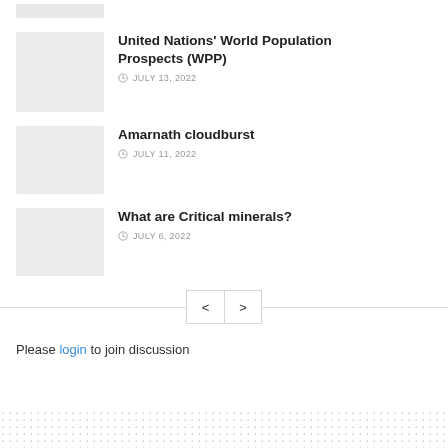[Figure (photo): Partial thumbnail image at top, cropped]
United Nations' World Population Prospects (WPP)
JULY 13, 2022
[Figure (photo): Thumbnail image for Amarnath cloudburst article]
Amarnath cloudburst
JULY 11, 2022
[Figure (photo): Thumbnail image for What are Critical minerals? article]
What are Critical minerals?
JULY 6, 2022
Please login to join discussion